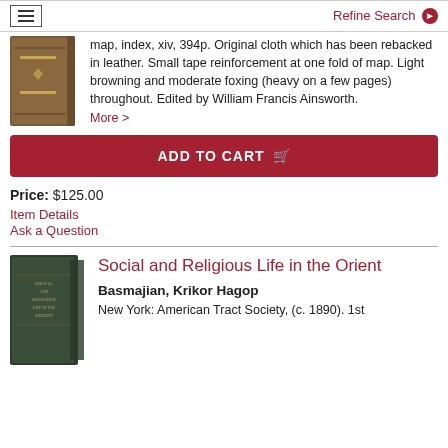Refine Search
map, index, xiv, 394p. Original cloth which has been rebacked in leather. Small tape reinforcement at one fold of map. Light browning and moderate foxing (heavy on a few pages) throughout. Edited by William Francis Ainsworth. More >
ADD TO CART
Price: $125.00
Item Details
Ask a Question
Social and Religious Life in the Orient
Basmajian, Krikor Hagop
New York: American Tract Society, (c. 1890). 1st